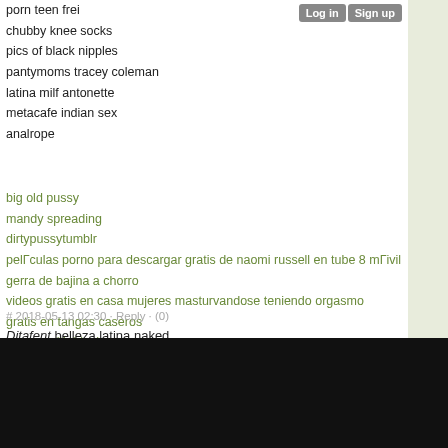porn teen frei
chubby knee socks
pics of black nipples
pantymoms tracey coleman
latina milf antonette
metacafe indian sex
analrope
big old pussy
mandy spreading
dirtypussytumblr
pelГculas porno para descargar gratis de naomi russell en tube 8 mГivil
gerra de bajina a chorro
videos gratis en casa mujeres masturvandose teniendo orgasmo
gratis en tangas caseros
granny with blacks
delinquent teens
defloratin s
# 2018-05-13 02:30 · Reply · (0)
Ditafent belleza latina naked
[Figure (screenshot): Advertisement box showing Atari gaming console image with link '80s toys - Atari. I still' on dark background with close button]